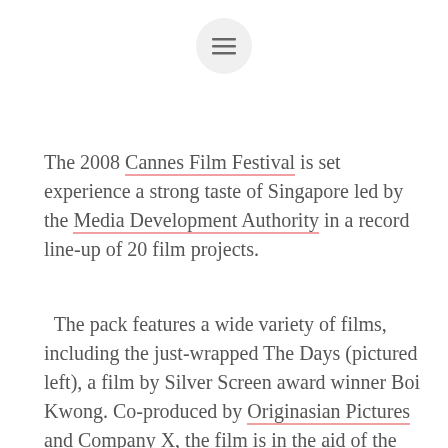[Figure (other): Hamburger menu button icon (three horizontal lines) inside a circular light grey button, centered near the top of the page]
The 2008 Cannes Film Festival is set experience a strong taste of Singapore led by the Media Development Authority in a record line-up of 20 film projects.
The pack features a wide variety of films, including the just-wrapped The Days (pictured left), a film by Silver Screen award winner Boi Kwong. Co-produced by Originasian Pictures and Company X, the film is in the aid of the Yellow Ribbon Project and is slated to be released in